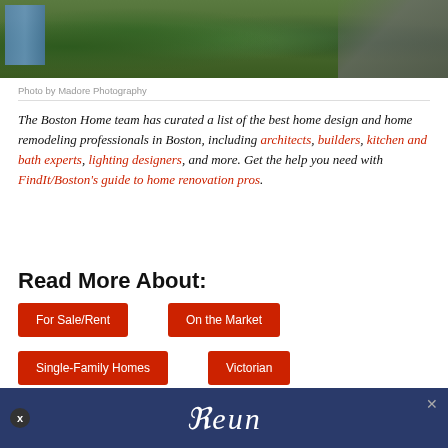[Figure (photo): Aerial/overhead view of a residential property with green shrubs, lawn, blue fencing on the left, and a dark paved driveway/road on the right.]
Photo by Madore Photography
The Boston Home team has curated a list of the best home design and home remodeling professionals in Boston, including architects, builders, kitchen and bath experts, lighting designers, and more. Get the help you need with FindIt/Boston's guide to home renovation pros.
Read More About:
For Sale/Rent
On the Market
Single-Family Homes
Victorian
[Figure (other): Advertisement banner with dark blue/purple background showing stylized text 'Reun' in white cursive lettering with a close button (x) on the left and an X on the right.]